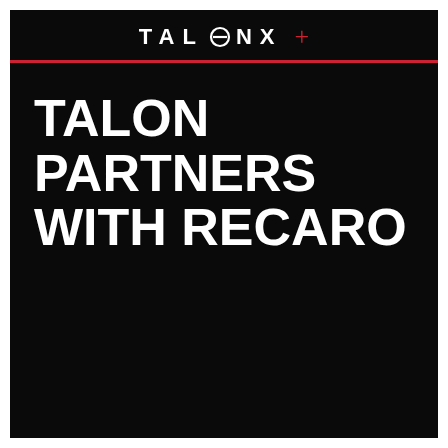TALONX +
TALON PARTNERS WITH RECARO